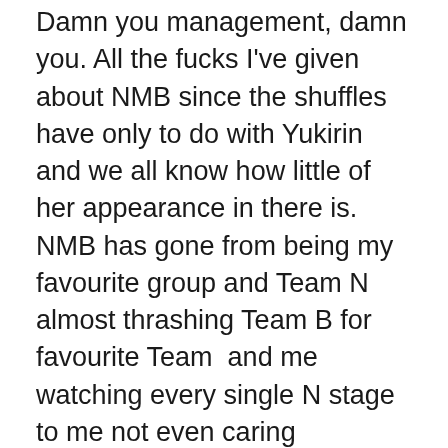Damn you management, damn you. All the fucks I've given about NMB since the shuffles have only to do with Yukirin and we all know how little of her appearance in there is. NMB has gone from being my favourite group and Team N almost thrashing Team B for favourite Team  and me watching every single N stage to me not even caring anymore! They even split up my Shuuka, like…
I guess I under-estimated how much Maachun really meant to me. Seriously I thought I loved that girl but not to this extent! I didn't think her leaving NMB would make me lose so much interest in it to the point of not even watching any of their stages! Since new team N's debut, I haven't seen a single NMB stage! I don't know how she affected me so. Before, I watched almost all Teams' stages even the KKS (Thanks to Riichan 24hr TV getting me interested in them BTW) but now...Paruru gives more fucks about